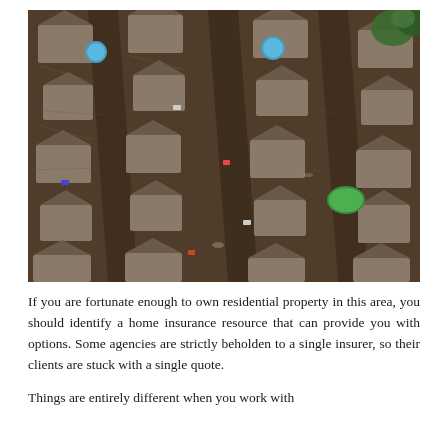[Figure (photo): Aerial view of a flooded residential neighborhood showing rows of houses with brown/grey rooftops surrounded by dark floodwater filling the streets and yards. Two swimming pools are visible (one blue circular pool, one green oval pool). Trees are visible in the top right corner.]
If you are fortunate enough to own residential property in this area, you should identify a home insurance resource that can provide you with options. Some agencies are strictly beholden to a single insurer, so their clients are stuck with a single quote.
Things are entirely different when you work with